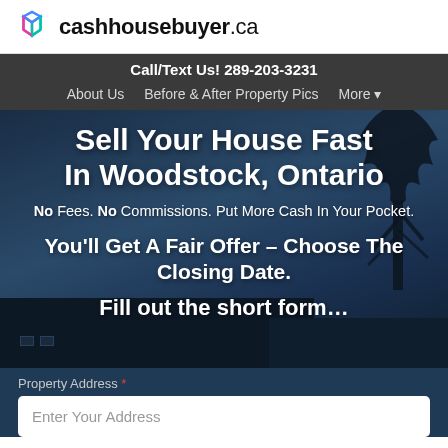cashhousebuyer.ca
Call/Text Us! 289-203-3231
About Us   Before & After Property Pics   More ▾
Sell Your House Fast In Woodstock, Ontario
No Fees. No Commissions. Put More Cash In Your Pocket.
You'll Get A Fair Offer – Choose The Closing Date.
Fill out the short form…
Property Address *
Enter Your Address